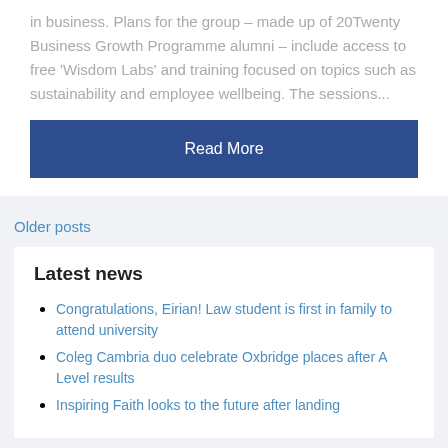in business. Plans for the group – made up of 20Twenty Business Growth Programme alumni – include access to free 'Wisdom Labs' and training focused on topics such as sustainability and employee wellbeing. The sessions...
Read More
Older posts
Latest news
Congratulations, Eirian! Law student is first in family to attend university
Coleg Cambria duo celebrate Oxbridge places after A Level results
Inspiring Faith looks to the future after landing